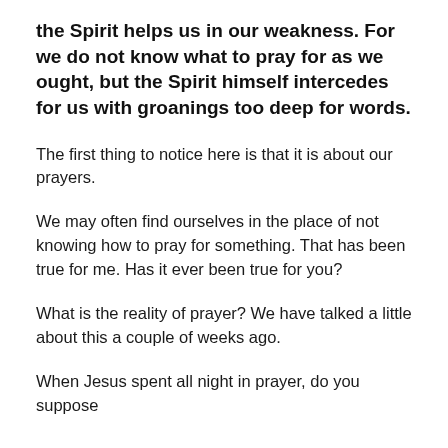the Spirit helps us in our weakness. For we do not know what to pray for as we ought, but the Spirit himself intercedes for us with groanings too deep for words.
The first thing to notice here is that it is about our prayers.
We may often find ourselves in the place of not knowing how to pray for something. That has been true for me. Has it ever been true for you?
What is the reality of prayer? We have talked a little about this a couple of weeks ago.
When Jesus spent all night in prayer, do you suppose